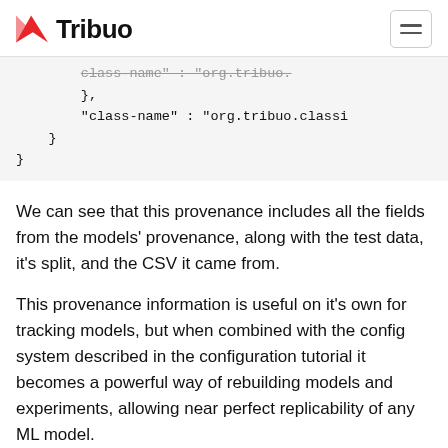Tribuo
},
"class-name" : "org.tribuo.classi
}
}
We can see that this provenance includes all the fields from the models' provenance, along with the test data, it's split, and the CSV it came from.
This provenance information is useful on it's own for tracking models, but when combined with the config system described in the configuration tutorial it becomes a powerful way of rebuilding models and experiments, allowing near perfect replicability of any ML model.